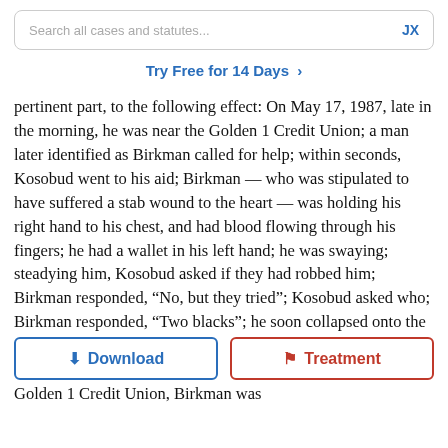Search all cases and statutes...   JX
Try Free for 14 Days  >
pertinent part, to the following effect: On May 17, 1987, late in the morning, he was near the Golden 1 Credit Union; a man later identified as Birkman called for help; within seconds, Kosobud went to his aid; Birkman — who was stipulated to have suffered a stab wound to the heart — was holding his right hand to his chest, and had blood flowing through his fingers; he had a wallet in his left hand; he was swaying; steadying him, Kosobud asked if they had robbed him; Birkman responded, “No, but they tried”; Kosobud asked who; Birkman responded, “Two blacks”; he soon collapsed onto the ground. Officer Calvin Li⁠ of the Sacramento Police Department testified, i⁠ to ct: When he arrived at the Golden 1 Credit Union, Birkman was